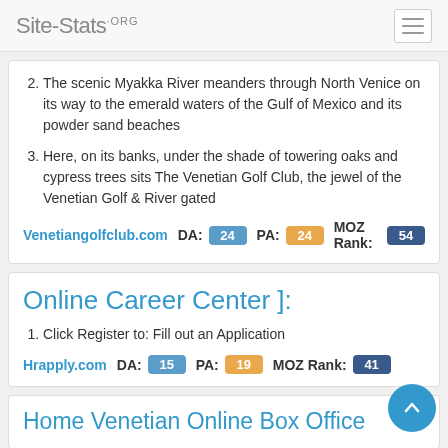Site-Stats.ORG
2. The scenic Myakka River meanders through North Venice on its way to the emerald waters of the Gulf of Mexico and its powder sand beaches
3. Here, on its banks, under the shade of towering oaks and cypress trees sits The Venetian Golf Club, the jewel of the Venetian Golf & River gated
Venetiangolfclub.com  DA: 24  PA: 24  MOZ Rank: 54
Online Career Center ]:.
1. Click Register to: Fill out an Application
Hrapply.com  DA: 15  PA: 19  MOZ Rank: 41
Home Venetian Online Box Office